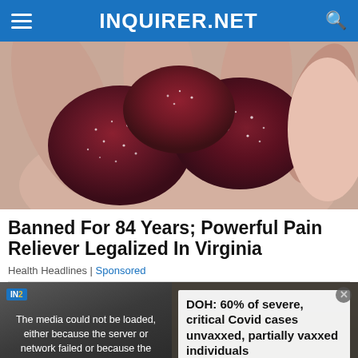INQUIRER.NET
[Figure (photo): Close-up of dark reddish-purple sugar-coated gummy candies held in a hand]
Banned For 84 Years; Powerful Pain Reliever Legalized In Virginia
Health Headlines | Sponsored
[Figure (screenshot): Video player with error overlay: 'The media could not be loaded, either because the server or network failed or because the format is not supported.' Video thumbnail shows text 'DOH: 60% OF SEVERE, CRITICAL COVID CASES UNVAXXED, PARTIALLY VAXXED INDIVIDUALS'. Popup card shows 'DOH: 60% of severe, critical Covid cases unvaxxed, partially vaxxed individuals'. An X close button is shown at the bottom.]